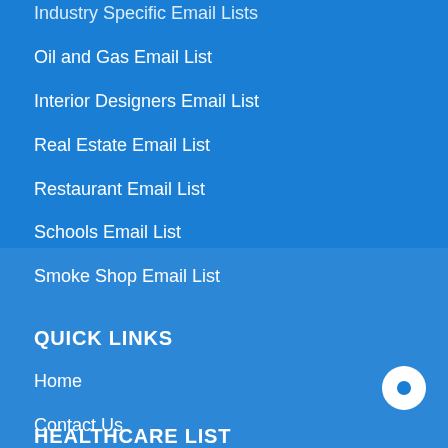Industry Specific Email Lists
Oil and Gas Email List
Interior Designers Email List
Real Estate Email List
Restaurant Email List
Schools Email List
Smoke Shop Email List
QUICK LINKS
Home
Contact Us
Contact Discovery
Testimonials
HEALTHCARE LIST